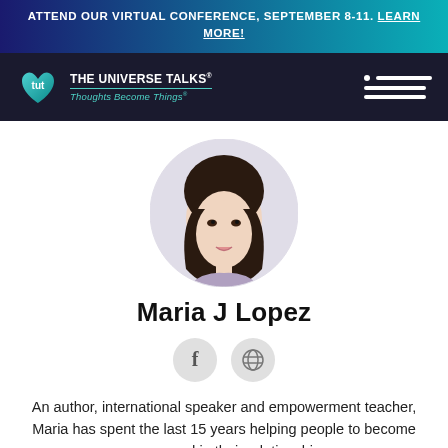ATTEND OUR VIRTUAL CONFERENCE, SEPTEMBER 8-11. LEARN MORE!
[Figure (logo): The Universe Talks logo with tut heart icon and tagline Thoughts Become Things]
[Figure (photo): Circular profile photo of Maria J Lopez, a woman with dark hair and bangs, smiling]
Maria J Lopez
[Figure (infographic): Social media icons: Facebook (f) and globe/website icon]
An author, international speaker and empowerment teacher, Maria has spent the last 15 years helping people to become empowered in their relationships